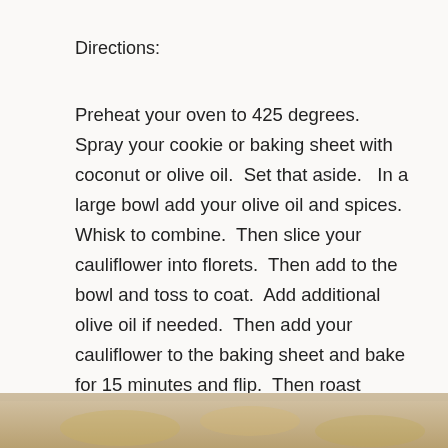Directions:
Preheat your oven to 425 degrees.  Spray your cookie or baking sheet with coconut or olive oil.  Set that aside.   In a large bowl add your olive oil and spices.  Whisk to combine.  Then slice your cauliflower into florets.  Then add to the bowl and toss to coat.  Add additional olive oil if needed.  Then add your cauliflower to the baking sheet and bake for 15 minutes and flip.  Then roast another 10 or so minutes or until golden around the edges.
[Figure (photo): Partial photo of roasted cauliflower dish visible at bottom of page]